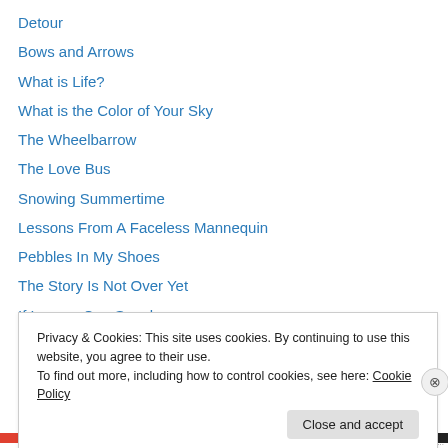Detour
Bows and Arrows
What is Life?
What is the Color of Your Sky
The Wheelbarrow
The Love Bus
Snowing Summertime
Lessons From A Faceless Mannequin
Pebbles In My Shoes
The Story Is Not Over Yet
If Leaves Can Speak
Echoes of a Broken Glass
Why Am I Speechless?
Privacy & Cookies: This site uses cookies. By continuing to use this website, you agree to their use. To find out more, including how to control cookies, see here: Cookie Policy
Close and accept